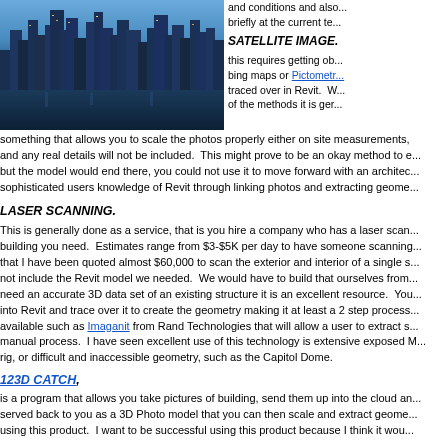[Figure (photo): City skyline at night with illuminated buildings reflected over water]
and conditions and also... briefly at the current te...
SATELLITE IMAGE.
this requires getting ob... bing maps or Pictometri... traced over in Revit. W... of the methods it is ger... something that allows you to scale the photos properly either on site measurements, and any real details will not be included. This might prove to be an okay method to e... but the model would end there, you could not use it to move forward with an architec... sophisticated users knowledge of Revit through linking photos and extracting geome...
LASER SCANNING.
This is generally done as a service, that is you hire a company who has a laser scan... building you need. Estimates range from $3-$5K per day to have someone scanning... that I have been quoted almost $60,000 to scan the exterior and interior of a single s... not include the Revit model we needed. We would have to build that ourselves from... need an accurate 3D data set of an existing structure it is an excellent resource. You... into Revit and trace over it to create the geometry making it at least a 2 step process... available such as Imaganit from Rand Technologies that will allow a user to extract s... manual process. I have seen excellent use of this technology is extensive exposed M... rig, or difficult and inaccessible geometry, such as the Capitol Dome.
123D CATCH,
is a program that allows you take pictures of building, send them up into the cloud an... served back to you as a 3D Photo model that you can then scale and extract geome... using this product. I want to be successful using this product because I think it wou...